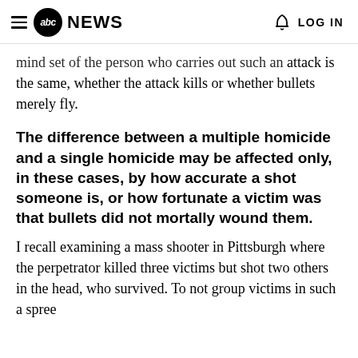abc NEWS  LOG IN
mind set of the person who carries out such an attack is the same, whether the attack kills or whether bullets merely fly.
The difference between a multiple homicide and a single homicide may be affected only, in these cases, by how accurate a shot someone is, or how fortunate a victim was that bullets did not mortally wound them.
I recall examining a mass shooter in Pittsburgh where the perpetrator killed three victims but shot two others in the head, who survived. To not group victims in such a spree